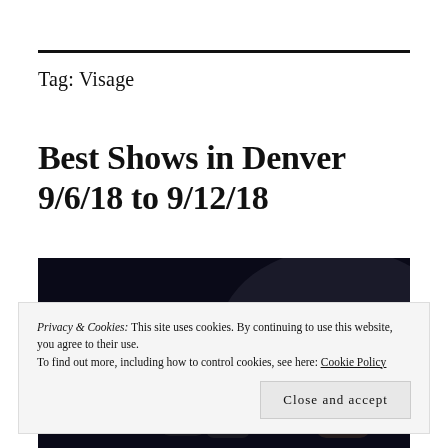Tag: Visage
Best Shows in Denver 9/6/18 to 9/12/18
[Figure (photo): Dark photograph showing silhouettes or performers against a very dark background]
Privacy & Cookies: This site uses cookies. By continuing to use this website, you agree to their use.
To find out more, including how to control cookies, see here: Cookie Policy
Close and accept